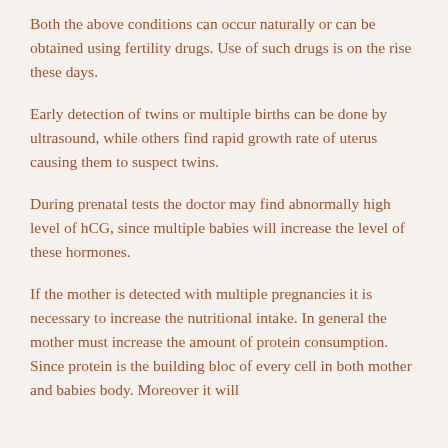Both the above conditions can occur naturally or can be obtained using fertility drugs. Use of such drugs is on the rise these days.
Early detection of twins or multiple births can be done by ultrasound, while others find rapid growth rate of uterus causing them to suspect twins.
During prenatal tests the doctor may find abnormally high level of hCG, since multiple babies will increase the level of these hormones.
If the mother is detected with multiple pregnancies it is necessary to increase the nutritional intake. In general the mother must increase the amount of protein consumption. Since protein is the building bloc of every cell in both mother and babies body. Moreover it will